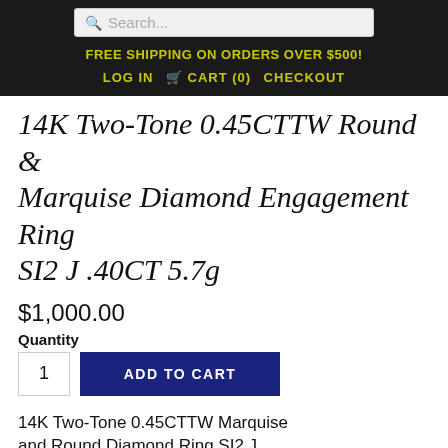FREE SHIPPING ON ORDERS OVER $500!
LOG IN   CART (0)   CHECKOUT
14K Two-Tone 0.45CTTW Round & Marquise Diamond Engagement Ring SI2 J .40CT 5.7g
$1,000.00
Quantity
1
ADD TO CART
14K Two-Tone 0.45CTTW Marquise and Round Diamond Ring SI2 J